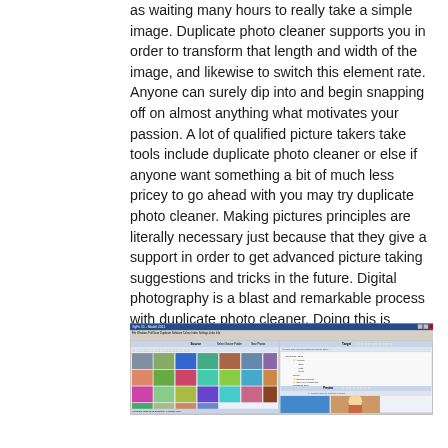as waiting many hours to really take a simple image. Duplicate photo cleaner supports you in order to transform that length and width of the image, and likewise to switch this element rate. Anyone can surely dip into and begin snapping off on almost anything what motivates your passion. A lot of qualified picture takers take tools include duplicate photo cleaner or else if anyone want something a bit of much less pricey to go ahead with you may try duplicate photo cleaner. Making pictures principles are literally necessary just because that they give a support in order to get advanced picture taking suggestions and tricks in the future. Digital photography is a blast and remarkable process with duplicate photo cleaner. Doing this is normally a problem that happens much more often the second anyone had wrong light sources as well as darks within the very same situation.
[Figure (screenshot): Screenshot of a duplicate photo cleaner software application showing Source and Target panels with photo thumbnails and a file tree in the target panel, plus a Preview section at the bottom.]